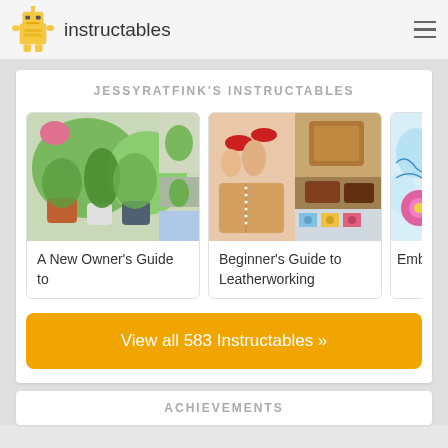instructables
JESSYRATFINK'S INSTRUCTABLES
[Figure (photo): Photo of houseplants in terracotta and white pots]
A New Owner's Guide to
[Figure (photo): Close-up of red fingernails stitching leather; leather craft items]
Beginner's Guide to Leatherworking
[Figure (photo): Partial view of embroidery on light blue fabric with pink flowers]
Embroi
View all 583 Instructables »
ACHIEVEMENTS